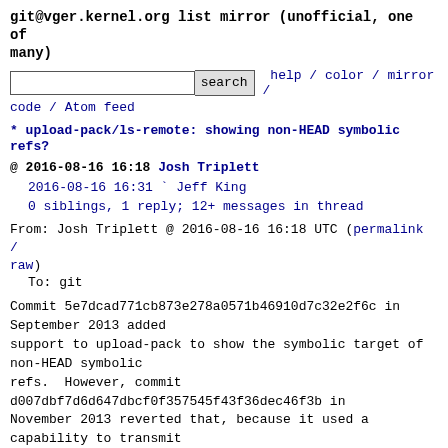git@vger.kernel.org list mirror (unofficial, one of many)
search  help / color / mirror / code / Atom feed
* upload-pack/ls-remote: showing non-HEAD symbolic refs?
@ 2016-08-16 16:18 Josh Triplett
  2016-08-16 16:31 ` Jeff King
  0 siblings, 1 reply; 12+ messages in thread
From: Josh Triplett @ 2016-08-16 16:18 UTC (permalink / raw)
  To: git
Commit 5e7dcad771cb873e278a0571b46910d7c32e2f6c in September 2013 added
support to upload-pack to show the symbolic target of non-HEAD symbolic
refs.  However, commit
d007dbf7d6d647dbcf0f357545f43f36dec46f3b in
November 2013 reverted that, because it used a capability to transmit
the information, and capabilities have a limited size (limited by the
pkt-line format which can't send lines longer than 64k) and can't
transmit an arbitrary number of symrefs.

(Incidentally, couldn't the same problem occur if the